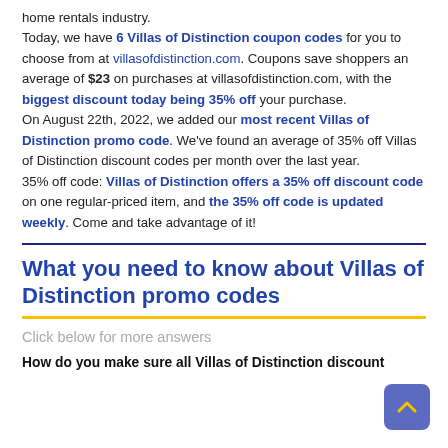home rentals industry. Today, we have 6 Villas of Distinction coupon codes for you to choose from at villasofdistinction.com. Coupons save shoppers an average of $23 on purchases at villasofdistinction.com, with the biggest discount today being 35% off your purchase. On August 22th, 2022, we added our most recent Villas of Distinction promo code. We've found an average of 35% off Villas of Distinction discount codes per month over the last year. 35% off code: Villas of Distinction offers a 35% off discount code on one regular-priced item, and the 35% off code is updated weekly. Come and take advantage of it!
What you need to know about Villas of Distinction promo codes
Click below for more answers
How do you make sure all Villas of Distinction discount